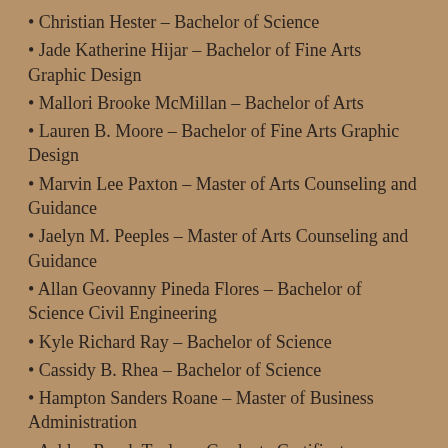Christian Hester – Bachelor of Science
Jade Katherine Hijar – Bachelor of Fine Arts Graphic Design
Mallori Brooke McMillan – Bachelor of Arts
Lauren B. Moore – Bachelor of Fine Arts Graphic Design
Marvin Lee Paxton – Master of Arts Counseling and Guidance
Jaelyn M. Peeples – Master of Arts Counseling and Guidance
Allan Geovanny Pineda Flores – Bachelor of Science Civil Engineering
Kyle Richard Ray – Bachelor of Science
Cassidy B. Rhea – Bachelor of Science
Hampton Sanders Roane – Master of Business Administration
Ashley Roark Taylor – Graduate Certificate